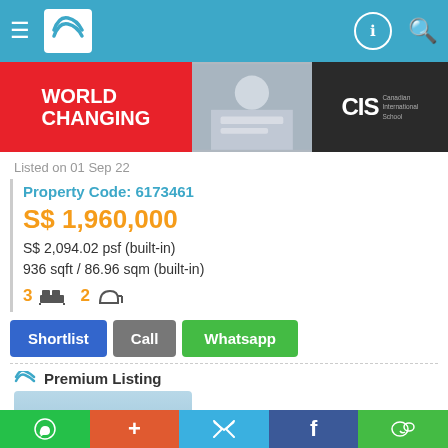Navigation header with logo and icons
[Figure (photo): Advertisement banner: WORLD CHANGING - CIS Canadian International School]
Listed on 01 Sep 22
Property Code: 6173461
S$ 1,960,000
S$ 2,094.02 psf (built-in)
936 sqft / 86.96 sqm (built-in)
3 bedrooms  2 bathrooms
Shortlist  Call  Whatsapp
Premium Listing
[Figure (photo): Property thumbnail image showing a modern condominium building with landscaping]
Social share bar: WhatsApp, +, Twitter, Facebook, WeChat